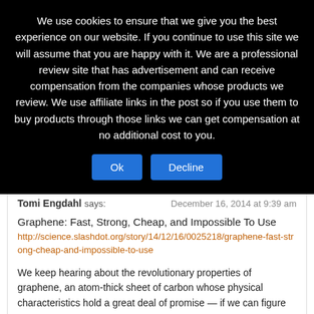We use cookies to ensure that we give you the best experience on our website. If you continue to use this site we will assume that you are happy with it. We are a professional review site that has advertisement and can receive compensation from the companies whose products we review. We use affiliate links in the post so if you use them to buy products through those links we can get compensation at no additional cost to you.
Reply
Tomi Engdahl says: December 16, 2014 at 9:39 am
Graphene: Fast, Strong, Cheap, and Impossible To Use
http://science.slashdot.org/story/14/12/16/0025218/graphene-fast-strong-cheap-and-impossible-to-use
We keep hearing about the revolutionary properties of graphene, an atom-thick sheet of carbon whose physical characteristics hold a great deal of promise — if we can figure out good ways to produce it and use it. The New Yorker has a lengthy profile of graphene and its discoverer, Andre Geim, as well as one of the physicists leading a big chunk of the bleeding-edge graphene research, James Tour.